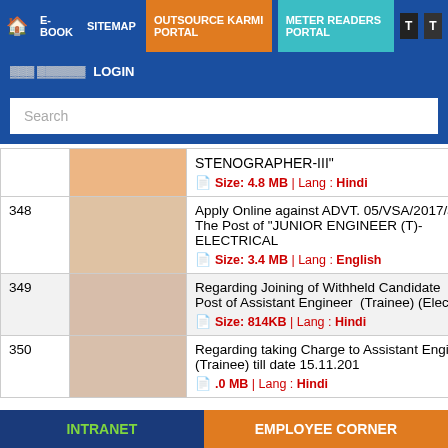Navigation: Home | E-BOOK | SITEMAP | OUTSOURCE KARMI PORTAL | METER READERS PORTAL | T | T
LOGIN
Search
| # |  | Description |
| --- | --- | --- |
|  |  | STENOGRAPHER-III" | Size: 4.8 MB | Lang : Hindi |
| 348 |  | Apply Online against ADVT. 05/VSA/2017/JE For The Post of "JUNIOR ENGINEER (T)-ELECTRICAL | Size: 3.4 MB | Lang : English |
| 349 |  | Regarding Joining of Withheld Candidate in the Post of Assistant Engineer (Trainee) (Electrical) | Size: 814KB | Lang : Hindi |
| 350 |  | Regarding taking Charge to Assistant Engineer (Trainee) till date 15.11.201... | .0 MB | Lang : Hindi |
INTRANET | EMPLOYEE CORNER